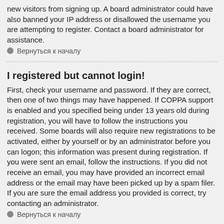new visitors from signing up. A board administrator could have also banned your IP address or disallowed the username you are attempting to register. Contact a board administrator for assistance.
Вернуться к началу
I registered but cannot login!
First, check your username and password. If they are correct, then one of two things may have happened. If COPPA support is enabled and you specified being under 13 years old during registration, you will have to follow the instructions you received. Some boards will also require new registrations to be activated, either by yourself or by an administrator before you can logon; this information was present during registration. If you were sent an email, follow the instructions. If you did not receive an email, you may have provided an incorrect email address or the email may have been picked up by a spam filer. If you are sure the email address you provided is correct, try contacting an administrator.
Вернуться к началу
Why can't I login?
There are several reasons why this could occur. First, ensure your username and password are correct. If they are, contact a board administrator to make sure you haven't been banned. It is also possible